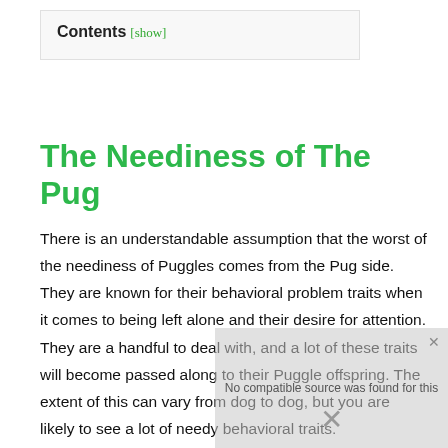Contents [show]
The Neediness of The Pug
There is an understandable assumption that the worst of the neediness of Puggles comes from the Pug side. They are known for their behavioral problem traits when it comes to being left alone and their desire for attention. They are a handful to deal with, and a lot of these traits will become passed along to their Puggle offspring. The extent of this can vary from dog to dog, but you are likely to see a lot of needy behavioral traits.
[Figure (screenshot): Video player overlay showing 'No compatible source was found for this' message with a close button and X icon, partially overlapping the article text.]